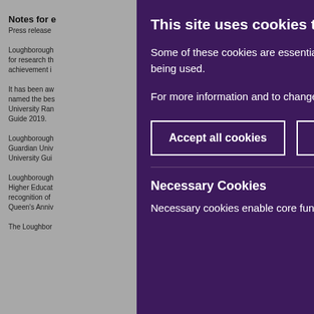Notes for e
Press release
Loughborough
for research th
achievement i
It has been aw
named the bes
University Ran
Guide 2019.
Loughborough
Guardian Univ
University Gui
Loughborough
Higher Educat
recognition of
Queen's Anniv
The Loughbor
This site uses cookies to store information on your computer.
Some of these cookies are essential, while othe help us to improve your experience by providing insights into how the site is being used.
For more information and to change your setting in the future, visit our privacy statement
Accept all cookies
Reject all cookies
Necessary Cookies
Necessary cookies enable core functionality suc as page navigation and access to secure areas.